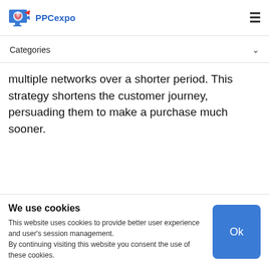PPCexpo
Categories
multiple networks over a shorter period. This strategy shortens the customer journey, persuading them to make a purchase much sooner.
Google shows ads when a user is
We use cookies
This website uses cookies to provide better user experience and user's session management.
By continuing visiting this website you consent the use of these cookies.